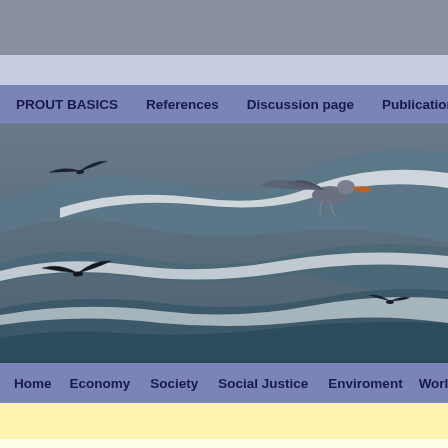[Figure (photo): Website screenshot showing ocean/beach scene with birds flying over waves. Navigation bars above and below the photo.]
PROUT BASICS   References   Discussion page   Publications   Co...
Home   Economy   Society   Social Justice   Enviroment   World G...
Category Archives: Economics
All the Economic subjects and alternatives